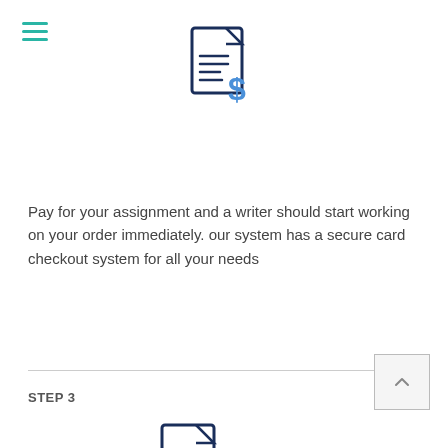[Figure (illustration): Document with dollar sign icon — payment step icon]
Pay for your assignment and a writer should start working on your order immediately. our system has a secure card checkout system for all your needs
STEP 3
[Figure (illustration): Document with magnifying glass icon — client dashboard step icon]
In your client dashboard, you can text the writer, editor or even the support team to